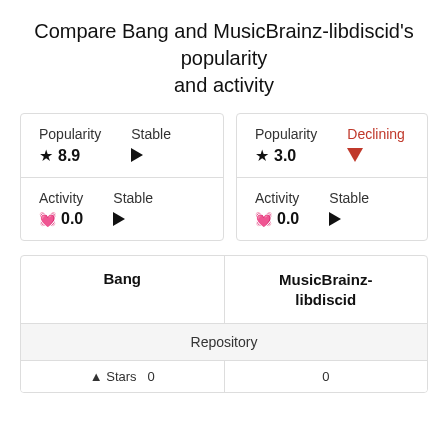Compare Bang and MusicBrainz-libdiscid's popularity and activity
[Figure (infographic): Two metric cards side by side. Left card: Popularity Stable ★8.9 / Activity Stable ♥0.0. Right card: Popularity Declining ★3.0 (down arrow) / Activity Stable ♥0.0]
| Bang | MusicBrainz-libdiscid |
| --- | --- |
| Repository | Repository |
| Stars ▲ Stars | 0 |